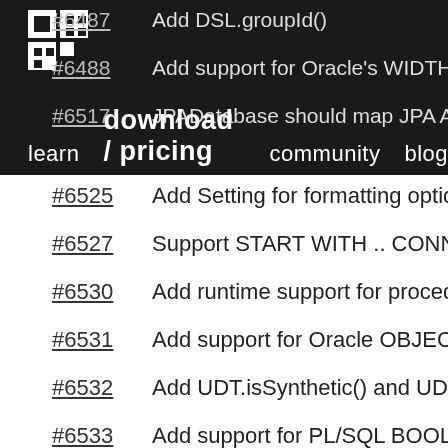jOOQ navigation: learn | download / pricing | community | blog
#6487 - Add DSL.groupId()
#6488 - Add support for Oracle's WIDTH_BUCKET() function
#6517 - JPADatabase should map JPAAttributeConverter
#6519 - Improve JPA examples reusing a JPA AttributeConverter
#6524 - Add JPAAttributeConverter to bridge between Converters
#6525 - Add Setting for formatting options
#6527 - Support START WITH .. CONNECT BY (reverse)
#6530 - Add runtime support for procedure calls with to
#6531 - Add support for Oracle OBJECT types nested in
#6532 - Add UDT.isSynthetic() and UDTDefinition.isSynth
#6533 - Add support for PL/SQL BOOLEAN types inside
#6534 - Add Name.append(String) and append(Name)
#6545 - Support formatting of multi dimensional arrays in
#6567 - Support using org.jooq.impl.EnumConverter as a
#6575 - Enhance plain SQL templating language documentation
#6584 - Improve DSLContext.batchStore() Javadoc, indic